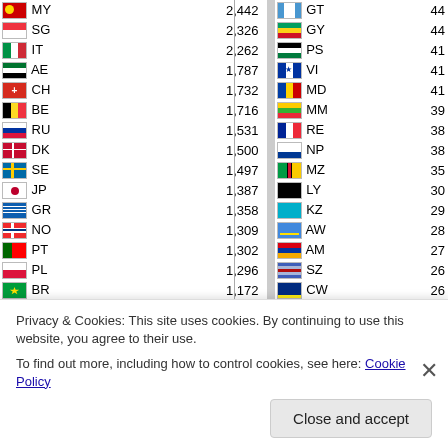| Flag | Code | Value | Flag | Code | Value |
| --- | --- | --- | --- | --- | --- |
| MY | 2,442 | GT | 44 |
| SG | 2,326 | GY | 44 |
| IT | 2,262 | PS | 41 |
| AE | 1,787 | VI | 41 |
| CH | 1,732 | MD | 41 |
| BE | 1,716 | MM | 39 |
| RU | 1,531 | RE | 38 |
| DK | 1,500 | NP | 38 |
| SE | 1,497 | MZ | 35 |
| JP | 1,387 | LY | 30 |
| GR | 1,358 | KZ | 29 |
| NO | 1,309 | AW | 28 |
| PT | 1,302 | AM | 27 |
| PL | 1,296 | SZ | 26 |
| BR | 1,172 | CW | 26 |
| TH | 1,161 | MC | 24 |
| HK | 1,135 | BO | 24 |
| TR | 1,043 | SR | 24 |
| BB | 949 | PY | 23 |
| MT | 878 | DM | 23 |
| ID | 858 | HN | 22 |
Privacy & Cookies: This site uses cookies. By continuing to use this website, you agree to their use.
To find out more, including how to control cookies, see here: Cookie Policy